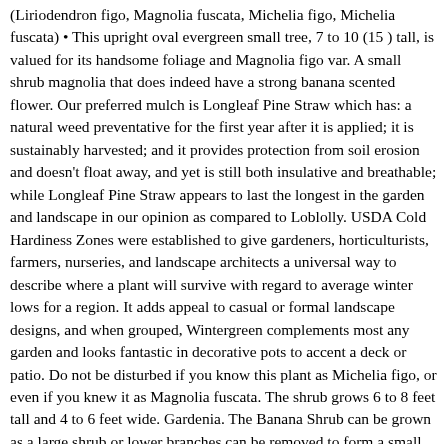(Liriodendron figo, Magnolia fuscata, Michelia figo, Michelia fuscata) • This upright oval evergreen small tree, 7 to 10 (15 ) tall, is valued for its handsome foliage and Magnolia figo var. A small shrub magnolia that does indeed have a strong banana scented flower. Our preferred mulch is Longleaf Pine Straw which has: a natural weed preventative for the first year after it is applied; it is sustainably harvested; and it provides protection from soil erosion and doesn't float away, and yet is still both insulative and breathable; while Longleaf Pine Straw appears to last the longest in the garden and landscape in our opinion as compared to Loblolly. USDA Cold Hardiness Zones were established to give gardeners, horticulturists, farmers, nurseries, and landscape architects a universal way to describe where a plant will survive with regard to average winter lows for a region. It adds appeal to casual or formal landscape designs, and when grouped, Wintergreen complements most any garden and looks fantastic in decorative pots to accent a deck or patio. Do not be disturbed if you know this plant as Michelia figo, or even if you knew it as Magnolia fuscata. The shrub grows 6 to 8 feet tall and 4 to 6 feet wide. Gardenia. The Banana Shrub can be grown as a large shrub or lower branches can be removed to form a small tree that matures to about 15 feet tall and almost as wide. It was named after Pietro Antonio Michele, 1679-1737, a Florentine botanist. The … Plants may be both patented and trademarked. They are quick to shatter when touched, so it is best to simply enjoy the flowers while they are still attached